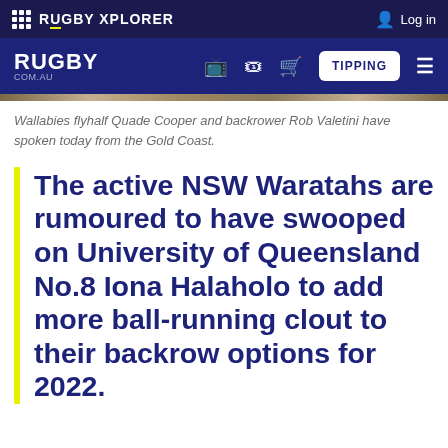RUGBY XPLORER — Log in
RUGBY .COM.AU — TIPPING
Wallabies flyhalf Quade Cooper and backrower Rob Valetini have spoken today from the Gold Coast.
The active NSW Waratahs are rumoured to have swooped on University of Queensland No.8 Iona Halaholo to add more ball-running clout to their backrow options for 2022.